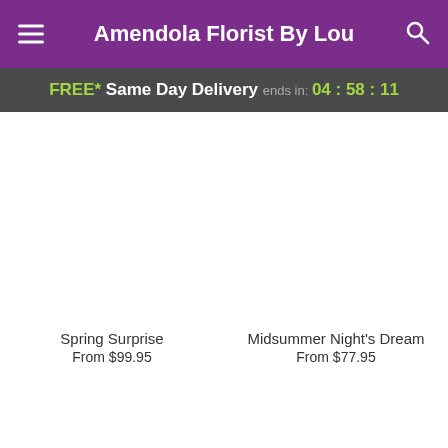Amendola Florist By Lou
FREE* Same Day Delivery ends in: 04:58:11
Spring Surprise
From $99.95
Midsummer Night's Dream
From $77.95
Bubble Gum Bliss™
From $82.95
Let the Sun Shine
From $97.95